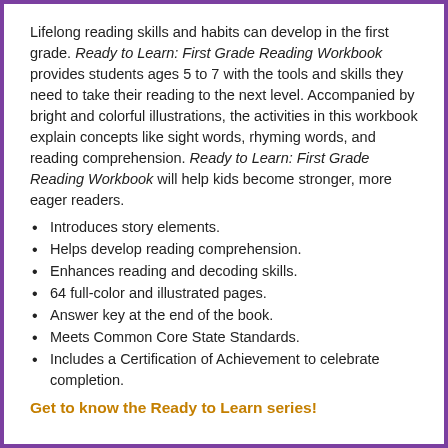Lifelong reading skills and habits can develop in the first grade. Ready to Learn: First Grade Reading Workbook provides students ages 5 to 7 with the tools and skills they need to take their reading to the next level. Accompanied by bright and colorful illustrations, the activities in this workbook explain concepts like sight words, rhyming words, and reading comprehension. Ready to Learn: First Grade Reading Workbook will help kids become stronger, more eager readers.
Introduces story elements.
Helps develop reading comprehension.
Enhances reading and decoding skills.
64 full-color and illustrated pages.
Answer key at the end of the book.
Meets Common Core State Standards.
Includes a Certification of Achievement to celebrate completion.
Get to know the Ready to Learn series!